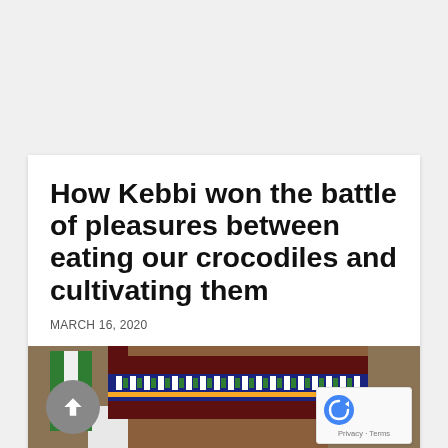How Kebbi won the battle of pleasures between eating our crocodiles and cultivating them
MARCH 16, 2020
[Figure (photo): Close-up photograph of a person wearing a traditional Nigerian cap with colorful embroidered pattern in green, white, yellow, and brown, with a Nigerian flag and eagle emblem visible in the background.]